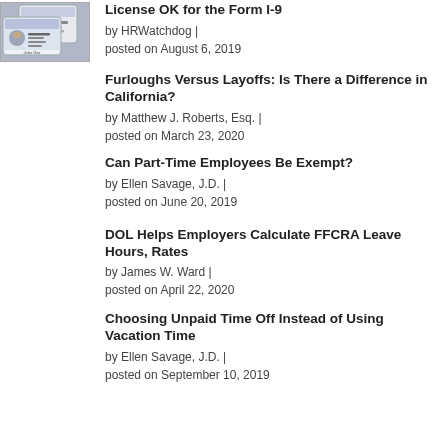[Figure (photo): Photo of two ID cards / driver's licenses, one showing a woman, one showing a bearded man labeled John Doe]
License OK for the Form I-9
by HRWatchdog | posted on August 6, 2019
Furloughs Versus Layoffs: Is There a Difference in California?
by Matthew J. Roberts, Esq. | posted on March 23, 2020
Can Part-Time Employees Be Exempt?
by Ellen Savage, J.D. | posted on June 20, 2019
DOL Helps Employers Calculate FFCRA Leave Hours, Rates
by James W. Ward | posted on April 22, 2020
Choosing Unpaid Time Off Instead of Using Vacation Time
by Ellen Savage, J.D. | posted on September 10, 2019